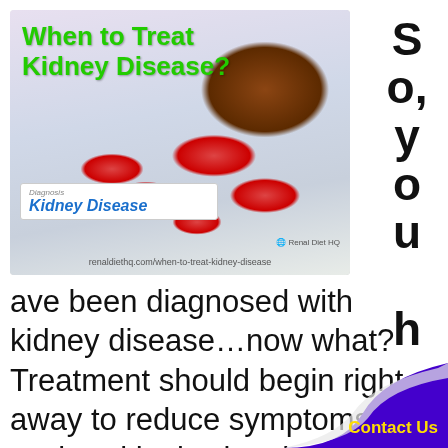[Figure (photo): Photo of prescription medications: a brown pill bottle tipped over spilling pink capsules and white pills, overlaid with a diagnosis card reading 'Kidney Disease'. Green bold text overlay reads 'When to Treat Kidney Disease?'. URL watermark: renaldiethq.com/when-to-treat-kidney-disease]
So, you have been diagnosed with kidney disease...now what? Treatment should begin right away to reduce symptoms and assist with slowing the progression of kidney function decline. Th
Contact Us